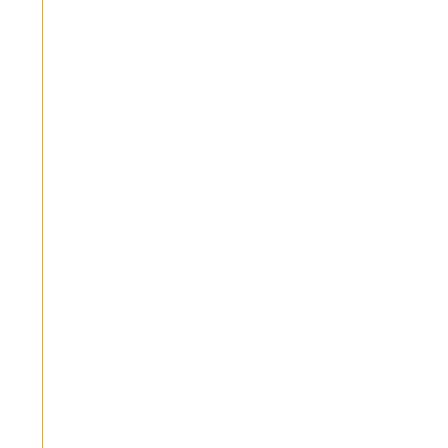Pre Menstrual Syndrome (PMS) Chisese Herbs - Lovage ( Chuan Xiong)
Pre Menstrual Syndrome (PMS) Conventional Treatment - Antidepressants
Pre Menstrual Syndrome (PMS) Conventional Treatment - Diure
Pre Menstrual Syndrome (PMS) Conventional Treatment - Estro Hormone Therap
Pre Menstrual Syndrome (PMS) Conventional Treatment - Progesterone Therapy
Pre Menstrual Syndrome (PMS